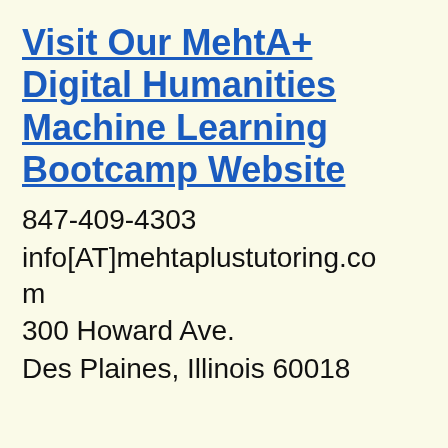Visit Our MehtA+ Digital Humanities Machine Learning Bootcamp Website
847-409-4303
info[AT]mehtaplustutoring.com
300 Howard Ave.
Des Plaines, Illinois 60018